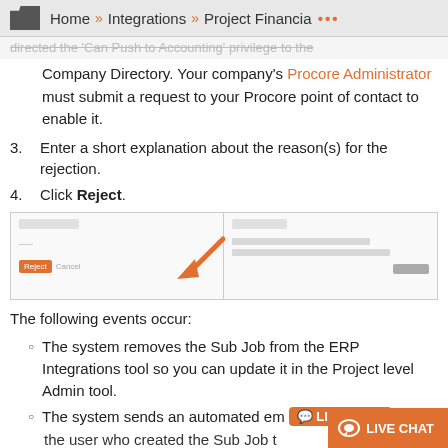Home » Integrations » Project Financia ...
directed the 'Can Push to Accounting' privilege to the Company Directory. Your company's Procore Administrator must submit a request to your Procore point of contact to enable it.
3. Enter a short explanation about the reason(s) for the rejection.
4. Click Reject.
[Figure (screenshot): Screenshot of a dialog with an orange arrow pointing to a Reject button on the left side, and a text area with a gray button on the right side.]
The following events occur:
The system removes the Sub Job from the ERP Integrations tool so you can update it in the Project level Admin tool.
The system sends an automated em... the user who created the Sub Job t...